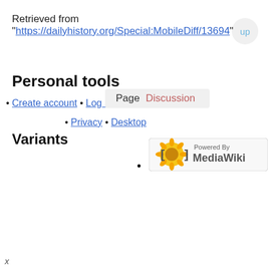Retrieved from "https://dailyhistory.org/Special:MobileDiff/13694"
Personal tools
Create account • Log in
Page   Discussion
• Privacy • Desktop
Variants
[Figure (logo): Powered by MediaWiki logo badge]
•